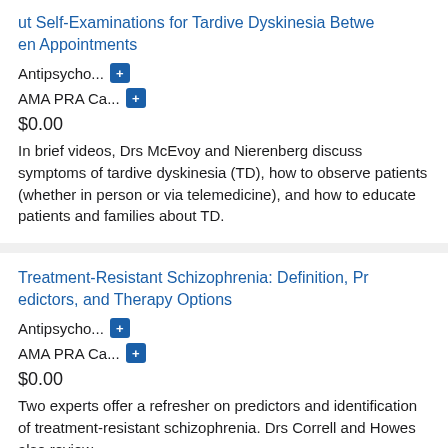ut Self-Examinations for Tardive Dyskinesia Between Appointments
Antipsycho... [+]
AMA PRA Ca... [+]
$0.00
In brief videos, Drs McEvoy and Nierenberg discuss symptoms of tardive dyskinesia (TD), how to observe patients (whether in person or via telemedicine), and how to educate patients and families about TD.
Treatment-Resistant Schizophrenia: Definition, Predictors, and Therapy Options
Antipsycho... [+]
AMA PRA Ca... [+]
$0.00
Two experts offer a refresher on predictors and identification of treatment-resistant schizophrenia. Drs Correll and Howes also review the continuing treatment...